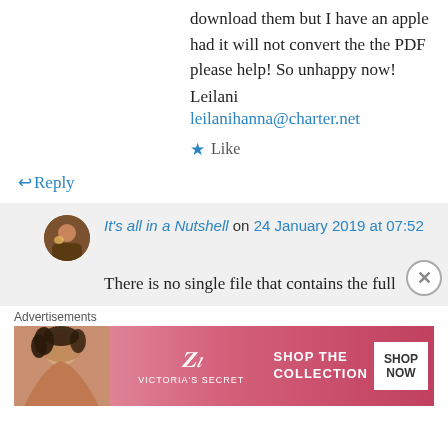download them but I have an apple had it will not convert the the PDF please help! So unhappy now!
Leilani
leilanihanna@charter.net
Like
Reply
It's all in a Nutshell on 24 January 2019 at 07:52
There is no single file that contains the full
Advertisements
[Figure (screenshot): Victoria's Secret advertisement banner with model photo, VS logo, 'SHOP THE COLLECTION' text, and 'SHOP NOW' button]